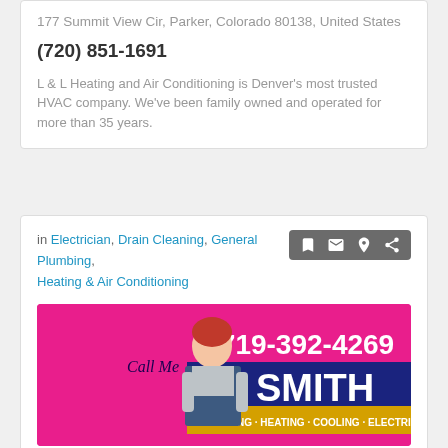177 Summit View Cir, Parker, Colorado 80138, United States
(720) 851-1691
L & L Heating and Air Conditioning is Denver's most trusted HVAC company. We've been family owned and operated for more than 35 years.
in Electrician, Drain Cleaning, General Plumbing, Heating & Air Conditioning
[Figure (photo): Smith Plumbing Heating Cooling & Electrical advertisement banner on magenta/pink background showing a woman in overalls, phone number 719-392-4269, and the SMITH brand name with tagline PLUMBING · HEATING · COOLING · ELECTRICAL]
Smith Plumbing Heating Cooling &